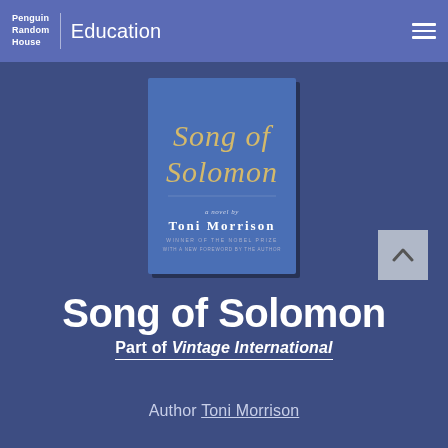Penguin Random House | Education
[Figure (photo): Book cover of 'Song of Solomon' by Toni Morrison — blue background with gold and white script lettering]
Song of Solomon
Part of Vintage International
Author Toni Morrison